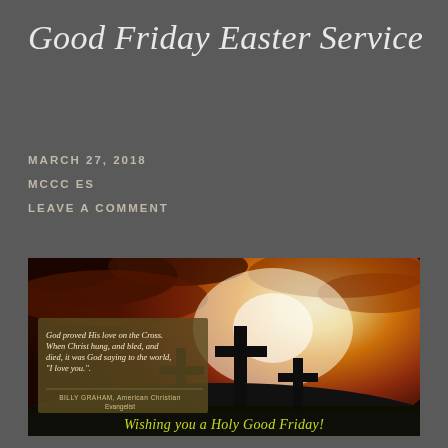Good Friday Easter Service
MARCH 27, 2018
MCCC ES
LEAVE A COMMENT
[Figure (illustration): A dramatic sunset sky with three cross silhouettes on a hill; overlaid quote: 'God proved His love on the Cross. When Christ hung, and bled, and died, it was God saying to the world, "I love you.".' attributed to Billy Graham, American Christian Evangelist. Footer text in yellow: 'Wishing you a Holy Good Friday!']